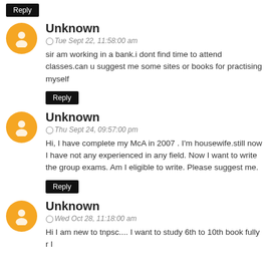Reply
Unknown
Tue Sept 22, 11:58:00 am
sir am working in a bank.i dont find time to attend classes.can u suggest me some sites or books for practising myself
Reply
Unknown
Thu Sept 24, 09:57:00 pm
Hi, I have complete my McA in 2007 . I'm housewife.still now I have not any experienced in any field. Now I want to write the group exams. Am I eligible to write. Please suggest me.
Reply
Unknown
Wed Oct 28, 11:18:00 am
Hi I am new to tnpsc.... I want to study 6th to 10th book fully r l